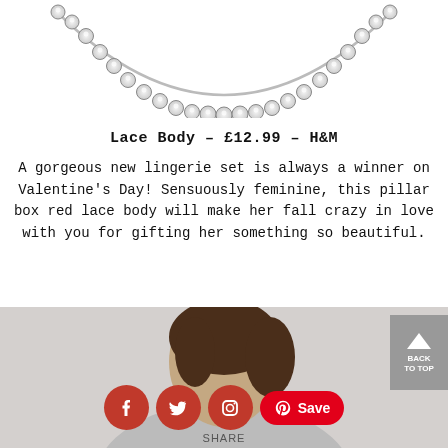[Figure (photo): Diamond tennis necklace forming an arc, photographed against white background, partially cropped at top.]
Lace Body – £12.99 – H&M
A gorgeous new lingerie set is always a winner on Valentine's Day! Sensuously feminine, this pillar box red lace body will make her fall crazy in love with you for gifting her something so beautiful.
[Figure (photo): Bottom portion of a webpage showing a woman's head and shoulder, with social sharing icons (Facebook, Twitter, Instagram, Pinterest Save) overlaid on a red bar, and a SHARE label below. A 'BACK TO TOP' button appears in grey at the right.]